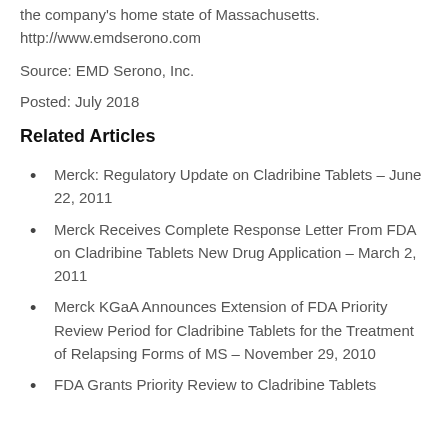the company's home state of Massachusetts.
http://www.emdserono.com
Source: EMD Serono, Inc.
Posted: July 2018
Related Articles
Merck: Regulatory Update on Cladribine Tablets – June 22, 2011
Merck Receives Complete Response Letter From FDA on Cladribine Tablets New Drug Application – March 2, 2011
Merck KGaA Announces Extension of FDA Priority Review Period for Cladribine Tablets for the Treatment of Relapsing Forms of MS – November 29, 2010
FDA Grants Priority Review to Cladribine Tablets